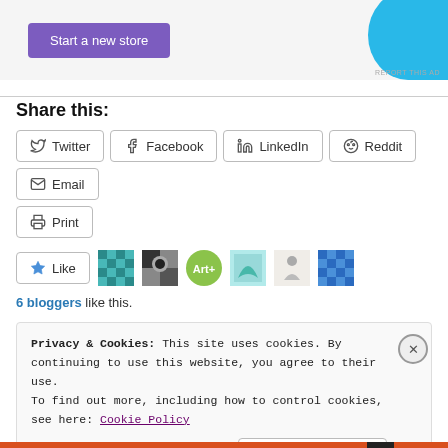[Figure (other): Advertisement banner with purple 'Start a new store' button and a cyan/blue decorative shape on the right]
Share this:
Twitter | Facebook | LinkedIn | Reddit | Email | Print (social share buttons)
[Figure (other): Like button with star icon, followed by 6 blogger avatar thumbnails]
6 bloggers like this.
Privacy & Cookies: This site uses cookies. By continuing to use this website, you agree to their use.
To find out more, including how to control cookies, see here: Cookie Policy
[Close and accept button]